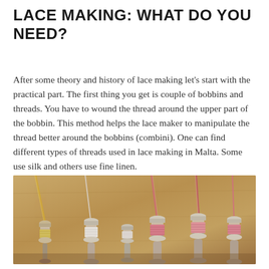LACE MAKING: WHAT DO YOU NEED?
After some theory and history of lace making let's start with the practical part. The first thing you get is couple of bobbins and threads. You have to wound the thread around the upper part of the bobbin. This method helps the lace maker to manipulate the thread better around the bobbins (combini). One can find different types of threads used in lace making in Malta. Some use silk and others use fine linen.
[Figure (photo): Photograph of multiple wooden bobbins with threads wound around them, arranged on a brown card or board background. Some bobbins have white thread, others have pink/rose thread, and one has a gold/metallic thread. Threads are strung upward from the bobbins.]